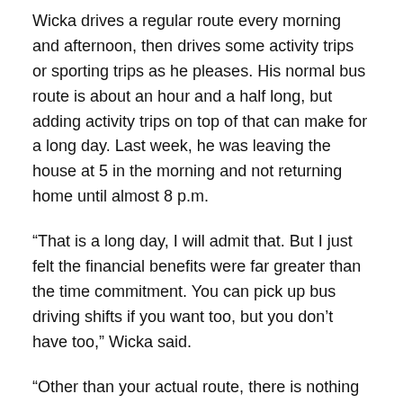Wicka drives a regular route every morning and afternoon, then drives some activity trips or sporting trips as he pleases. His normal bus route is about an hour and a half long, but adding activity trips on top of that can make for a long day. Last week, he was leaving the house at 5 in the morning and not returning home until almost 8 p.m.
“That is a long day, I will admit that. But I just felt the financial benefits were far greater than the time commitment. You can pick up bus driving shifts if you want too, but you don’t have too,” Wicka said.
“Other than your actual route, there is nothing concrete on how much or little you have to work,” Wicka noted. “I really like that. I am buying a new house right now, so I could really use the extra money. I was picking up the extra shifts for the